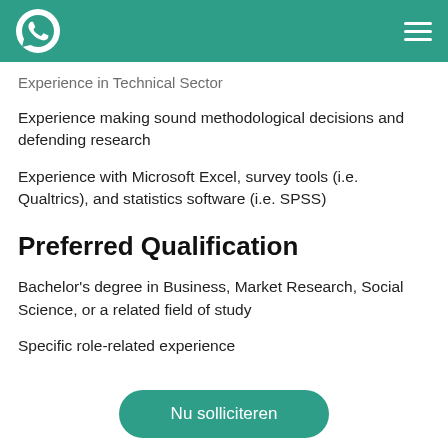WhatsApp icon and hamburger menu
Experience in Technical Sector
Experience making sound methodological decisions and defending research
Experience with Microsoft Excel, survey tools (i.e. Qualtrics), and statistics software (i.e. SPSS)
Preferred Qualification
Bachelor's degree in Business, Market Research, Social Science, or a related field of study
Specific role-related experience
Nu solliciteren